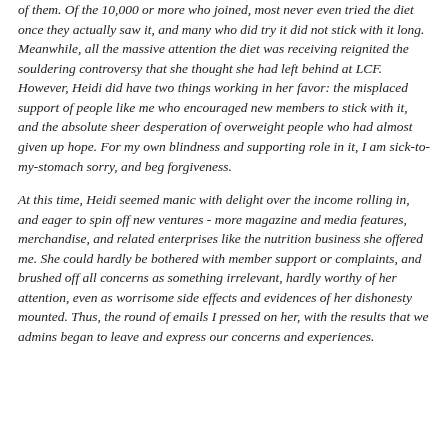of them. Of the 10,000 or more who joined, most never even tried the diet once they actually saw it, and many who did try it did not stick with it long. Meanwhile, all the massive attention the diet was receiving reignited the souldering controversy that she thought she had left behind at LCF. However, Heidi did have two things working in her favor: the misplaced support of people like me who encouraged new members to stick with it, and the absolute sheer desperation of overweight people who had almost given up hope. For my own blindness and supporting role in it, I am sick-to-my-stomach sorry, and beg forgiveness.
At this time, Heidi seemed manic with delight over the income rolling in, and eager to spin off new ventures - more magazine and media features, merchandise, and related enterprises like the nutrition business she offered me. She could hardly be bothered with member support or complaints, and brushed off all concerns as something irrelevant, hardly worthy of her attention, even as worrisome side effects and evidences of her dishonesty mounted. Thus, the round of emails I pressed on her, with the results that we admins began to leave and express our concerns and experiences.